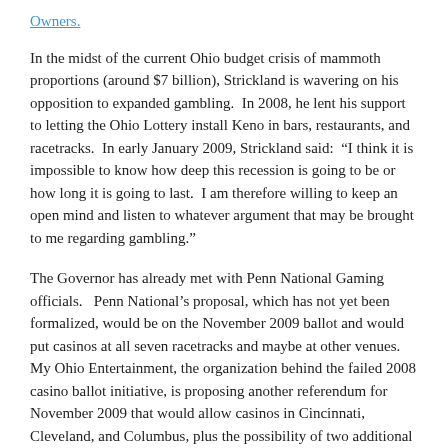Owners.
In the midst of the current Ohio budget crisis of mammoth proportions (around $7 billion), Strickland is wavering on his opposition to expanded gambling.  In 2008, he lent his support to letting the Ohio Lottery install Keno in bars, restaurants, and racetracks.  In early January 2009, Strickland said:  “I think it is impossible to know how deep this recession is going to be or how long it is going to last.  I am therefore willing to keep an open mind and listen to whatever argument that may be brought to me regarding gambling.”
The Governor has already met with Penn National Gaming officials.   Penn National’s proposal, which has not yet been formalized, would be on the November 2009 ballot and would put casinos at all seven racetracks and maybe at other venues.  My Ohio Entertainment, the organization behind the failed 2008 casino ballot initiative, is proposing another referendum for November 2009 that would allow casinos in Cincinnati, Cleveland, and Columbus, plus the possibility of two additional locations.